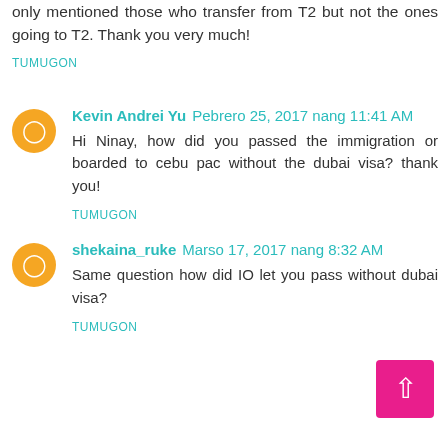only mentioned those who transfer from T2 but not the ones going to T2. Thank you very much!
TUMUGON
Kevin Andrei Yu Pebrero 25, 2017 nang 11:41 AM
Hi Ninay, how did you passed the immigration or boarded to cebu pac without the dubai visa? thank you!
TUMUGON
shekaina_ruke Marso 17, 2017 nang 8:32 AM
Same question how did IO let you pass without dubai visa?
TUMUGON